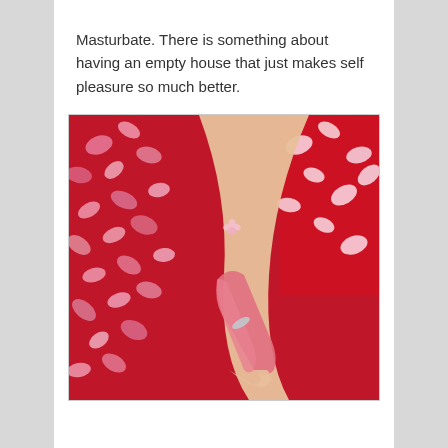Masturbate. There is something about having an empty house that just makes self pleasure so much better.
[Figure (photo): Photo of a person's leg in a red bath filled with pink flower petals, holding a pink personal massager device.]